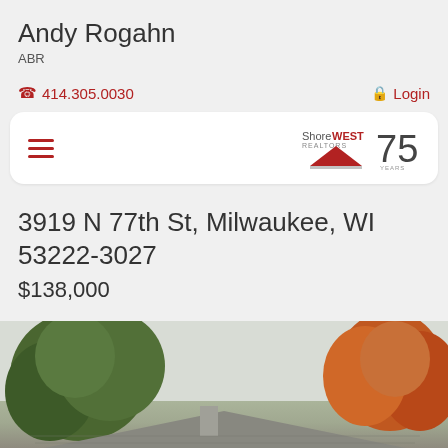Andy Rogahn
ABR
414.305.0030
Login
[Figure (logo): ShoreWest Realtors 75 years logo with red triangle/roof icon and hamburger menu]
3919 N 77th St, Milwaukee, WI 53222-3027
$138,000
[Figure (photo): Exterior photo of a single-story ranch house with gray roof, light siding, surrounded by green and fall-colored trees, overcast sky]